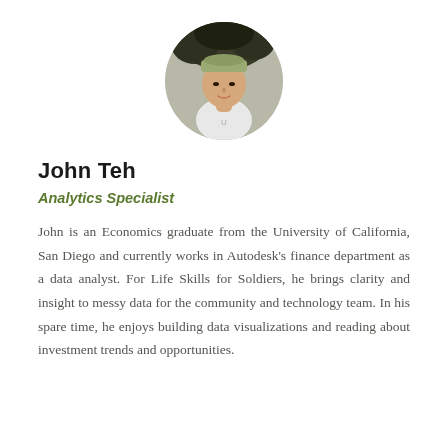[Figure (photo): Circular profile photo of John Teh, a young Asian man wearing a cap and white shirt, outdoors with trees in background.]
John Teh
Analytics Specialist
John is an Economics graduate from the University of California, San Diego and currently works in Autodesk's finance department as a data analyst. For Life Skills for Soldiers, he brings clarity and insight to messy data for the community and technology team. In his spare time, he enjoys building data visualizations and reading about investment trends and opportunities.